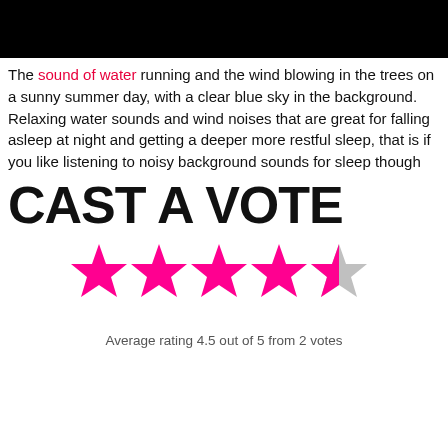[Figure (photo): Black rectangle at top of page, representing an image/video thumbnail]
The sound of water running and the wind blowing in the trees on a sunny summer day, with a clear blue sky in the background. Relaxing water sounds and wind noises that are great for falling asleep at night and getting a deeper more restful sleep, that is if you like listening to noisy background sounds for sleep though
CAST A VOTE
[Figure (infographic): 5 stars rating display: 4 full magenta/pink stars and 1 half magenta/half grey star, indicating 4.5 out of 5 rating]
Average rating 4.5 out of 5 from 2 votes